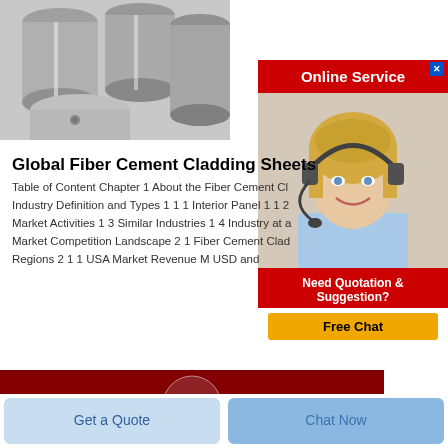[Figure (photo): Gray fiber cement cladding tubes/rolls stacked together]
[Figure (infographic): Online Service advertisement banner with red header, customer service representative photo, 'Need Quotation & Suggestion?' text, and yellow Free Chat button]
Global Fiber Cement Cladding Sheets
Table of Content Chapter 1 About the Fiber Cement Cladding Industry Definition and Types 1 1 1 Interior Panel 1 1 2 Market Activities 1 3 Similar Industries 1 4 Industry at a Market Competition Landscape 2 1 Fiber Cement Cladding Regions 2 1 1 USA Market Revenue M USD and
[Figure (photo): Dark red background with transparent/glass dome or bowl shape in center]
Get a Quote
Chat Now